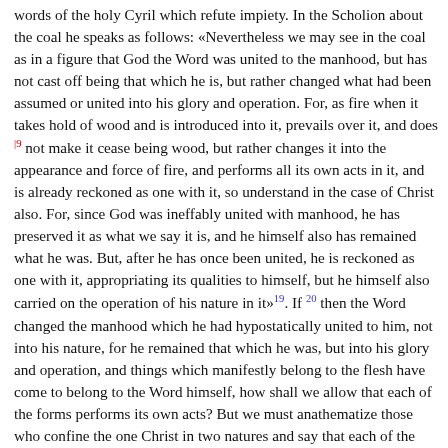words of the holy Cyril which refute impiety. In the Scholion about the coal he speaks as follows: «Nevertheless we may see in the coal as in a figure that God the Word was united to the manhood, but has not cast off being that which he is, but rather changed what had been assumed or united into his glory and operation. For, as fire when it takes hold of wood and is introduced into it, prevails over it, and does [19] not make it cease being wood, but rather changes it into the appearance and force of fire, and performs all its own acts in it, and is already reckoned as one with it, so understand in the case of Christ also. For, since God was ineffably united with manhood, he has preserved it as what we say it is, and he himself also has remained what he was. But, after he has once been united, he is reckoned as one with it, appropriating its qualities to himself, but he himself also carried on the operation of his nature in it»[19]. If [20] then the Word changed the manhood which he had hypostatically united to him, not into his nature, for he remained that which he was, but into his glory and operation, and things which manifestly belong to the flesh have come to belong to the Word himself, how shall we allow that each of the forms performs its own acts? But we must anathematize those who confine the one Christ in two natures and say that each of the natures performs its own acts. Between the things performed and done by the one Christ the difference is great. Some of them are acts befitting the divinity, while others are human. For example, to